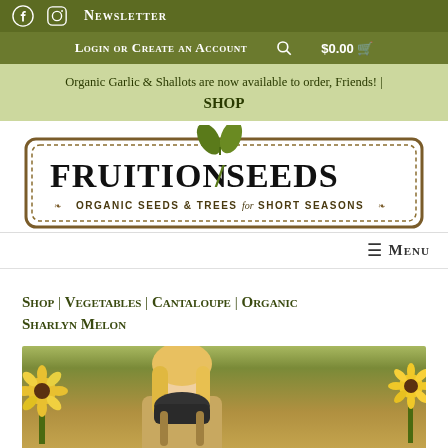Facebook | Instagram | Newsletter
Login or Create an Account | $0.00 cart
Organic Garlic & Shallots are now available to order, Friends! | SHOP
[Figure (logo): Fruition Seeds logo — Organic Seeds & Trees for Short Seasons, with decorative border and sprouting seedling graphic]
≡ Menu
Shop | Vegetables | Cantaloupe | Organic Sharlyn Melon
[Figure (photo): Blonde woman with dark scarf and backpack standing in front of sunflowers in a garden]